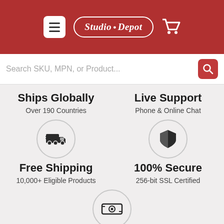[Figure (screenshot): Studio Depot website header with hamburger menu, logo oval, and cart icon on red background]
[Figure (screenshot): Search bar with placeholder 'Search SKU, MPN, or Product...' and red search button]
Ships Globally
Over 190 Countries
Live Support
Phone & Online Chat
[Figure (illustration): Delivery truck icon in circle]
[Figure (illustration): Shield/security icon in circle]
Free Shipping
10,000+ Eligible Products
100% Secure
256-bit SSL Certified
[Figure (illustration): Money/cash icon in circle]
Financing